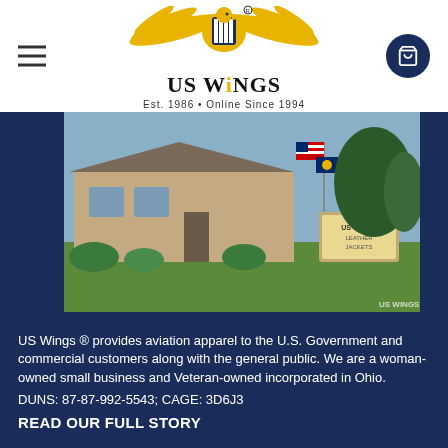[Figure (logo): US Wings logo with eagle wings and text 'US Wings Est. 1986 • Online Since 1994']
[Figure (photo): Exterior photo of US Wings building with American flag, another flag, and a sign reading 'US Wings Leather Jackets', green lawn in foreground, trees in background]
US Wings ® provides aviation apparel to the U.S. Government and commercial customers along with the general public. We are a woman-owned small business and Veteran-owned incorporated in Ohio.
DUNS: 87-87-992-5543; CAGE: 3D6J3
READ OUR FULL STORY